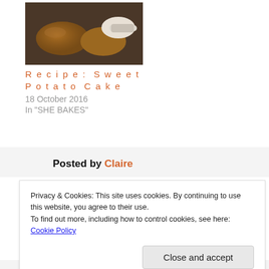[Figure (photo): Photo of sweet potato cake - baked sweet potatoes and a small bowl of salt/sugar on a dark background]
Recipe: Sweet Potato Cake
18 October 2016
In "SHE BAKES"
Posted by Claire
Privacy & Cookies: This site uses cookies. By continuing to use this website, you agree to their use.
To find out more, including how to control cookies, see here: Cookie Policy
Close and accept
Cheese fiend! Travel lover. What better way to